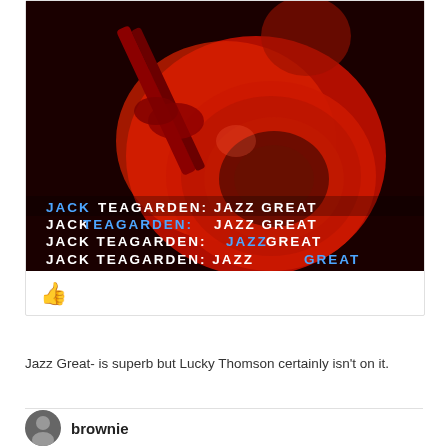[Figure (photo): Album cover art for 'Jack Teagarden: Jazz Great' showing a trombone player in red tones. The cover has four lines of text with different words highlighted in blue each time: 'JACK TEAGARDEN: JAZZ GREAT']
👍
Jazz Great- is superb but Lucky Thomson certainly isn't on it.
brownie